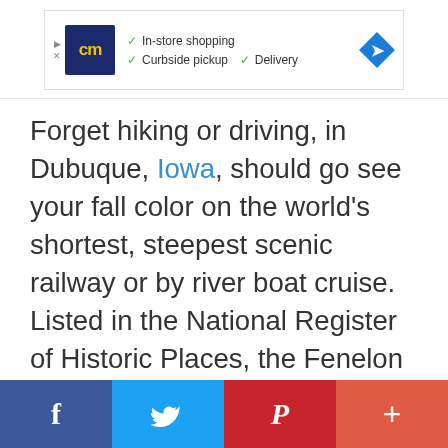[Figure (screenshot): Advertisement banner for a retail store with logo showing 'cm' in yellow on dark blue background, checkmarks for In-store shopping, Curbside pickup, Delivery, and a blue diamond arrow icon on the right. Small play and close icons on the left edge.]
Forget hiking or driving, in Dubuque, Iowa, should go see your fall color on the world's shortest, steepest scenic railway or by river boat cruise. Listed in the National Register of Historic Places, the Fenelon Place Elevator will lift you up to look down onto historic homes, the Mississippi River and three states. The next day, get a different perspective by sailing the river.
[Figure (infographic): Social sharing bar at bottom with four buttons: Facebook (dark blue, f icon), Twitter (light blue, bird icon), Pinterest (red, P icon), More/share (coral red, + icon)]